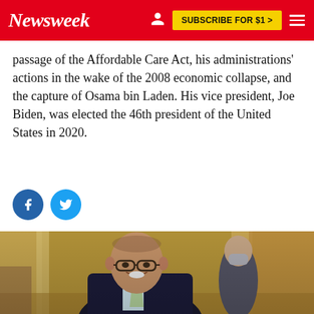Newsweek | SUBSCRIBE FOR $1 >
passage of the Affordable Care Act, his administrations' actions in the wake of the 2008 economic collapse, and the capture of Osama bin Laden. His vice president, Joe Biden, was elected the 46th president of the United States in 2020.
[Figure (other): Social media share buttons: Facebook (blue circle with f) and Twitter (blue circle with bird icon)]
[Figure (photo): A smiling older man wearing glasses, a dark suit jacket, and a light green tie, walking in what appears to be an ornate government building hallway. Another man in a suit with a face mask is visible behind him.]